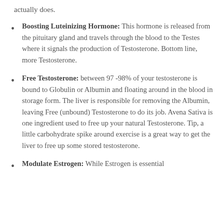actually does.
Boosting Luteinizing Hormone: This hormone is released from the pituitary gland and travels through the blood to the Testes where it signals the production of Testosterone. Bottom line, more Testosterone.
Free Testosterone: between 97 -98% of your testosterone is bound to Globulin or Albumin and floating around in the blood in storage form. The liver is responsible for removing the Albumin, leaving Free (unbound) Testosterone to do its job. Avena Sativa is one ingredient used to free up your natural Testosterone. Tip, a little carbohydrate spike around exercise is a great way to get the liver to free up some stored testosterone.
Modulate Estrogen: While Estrogen is essential for...